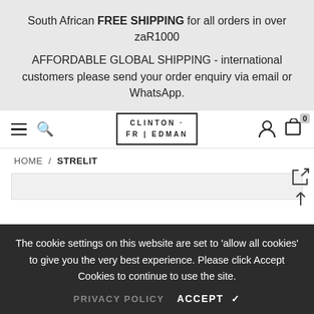South African FREE SHIPPING for all orders in over zaR1000
AFFORDABLE GLOBAL SHIPPING - international customers please send your order enquiry via email or WhatsApp.
[Figure (screenshot): Navigation bar with hamburger menu, search icon, Clinton Friedman logo, user icon, and cart icon showing 0 items]
HOME / STRELIT
The cookie settings on this website are set to 'allow all cookies' to give you the very best experience. Please click Accept Cookies to continue to use the site.
PRIVACY POLICY   ACCEPT ✔